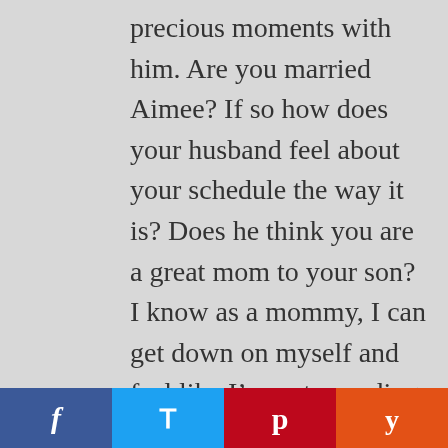precious moments with him. Are you married Aimee? If so how does your husband feel about your schedule the way it is? Does he think you are a great mom to your son? I know as a mommy, I can get down on myself and feel like I'm not spending quality time with my kids but my husband help me identify that I am doing just fine. Also, you may want to try devoting 5 or 15 minutes everyday – every other day where it's just you and your son. I think a little bit of quality time is better than none or sporadic. When life